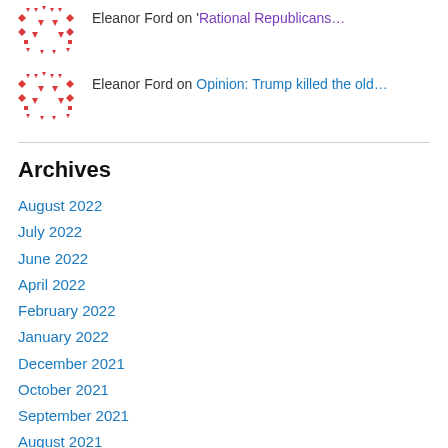Eleanor Ford on 'Rational Republicans…
Eleanor Ford on Opinion: Trump killed the old…
Archives
August 2022
July 2022
June 2022
April 2022
February 2022
January 2022
December 2021
October 2021
September 2021
August 2021
July 2021